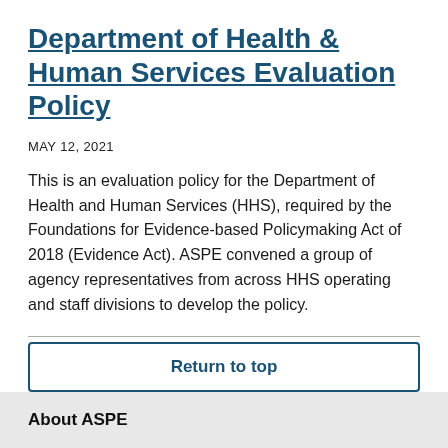Department of Health & Human Services Evaluation Policy
MAY 12, 2021
This is an evaluation policy for the Department of Health and Human Services (HHS), required by the Foundations for Evidence-based Policymaking Act of 2018 (Evidence Act). ASPE convened a group of agency representatives from across HHS operating and staff divisions to develop the policy.
Return to top
About ASPE